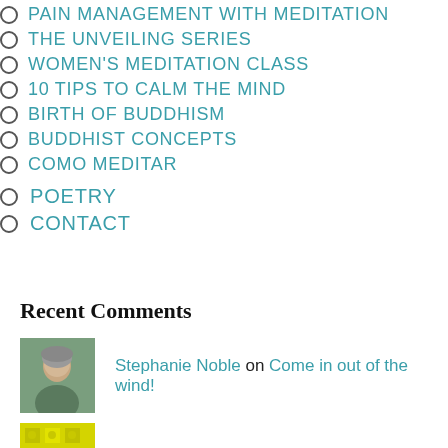PAIN MANAGEMENT WITH MEDITATION
THE UNVEILING SERIES
WOMEN'S MEDITATION CLASS
10 TIPS TO CALM THE MIND
BIRTH OF BUDDHISM
BUDDHIST CONCEPTS
COMO MEDITAR
POETRY
CONTACT
Recent Comments
Stephanie Noble on Come in out of the wind!
Stephen Gold on Come in out of the wind!